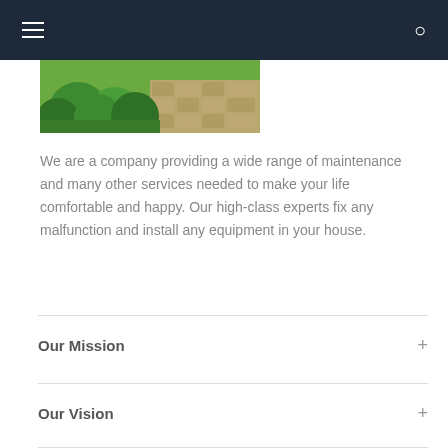[Figure (photo): Landscaped garden with round green bushes and a cobblestone path]
We are a company providing a wide range of maintenance and many other services needed to make your life comfortable and happy. Our high-class experts fix any malfunction and install any equipment in your house.
Our Mission
Our Vision